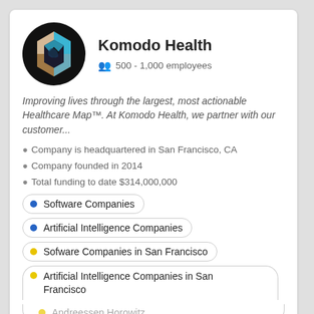[Figure (logo): Komodo Health company logo: geometric hexagon shape with brown, white and cyan/blue panels, on black circular background]
Komodo Health
500 - 1,000 employees
Improving lives through the largest, most actionable Healthcare Map™. At Komodo Health, we partner with our customer...
Company is headquartered in San Francisco, CA
Company founded in 2014
Total funding to date $314,000,000
Software Companies
Artificial Intelligence Companies
Sofware Companies in San Francisco
Artificial Intelligence Companies in San Francisco
Andreessen Horowitz